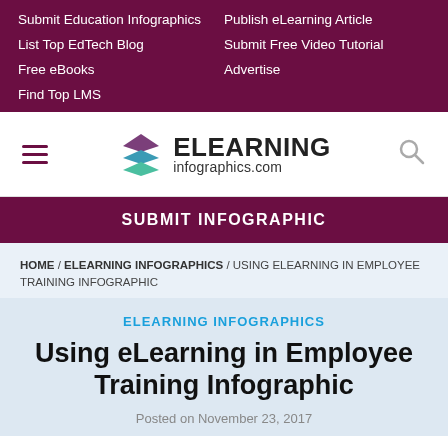Submit Education Infographics | Publish eLearning Article | List Top EdTech Blog | Submit Free Video Tutorial | Free eBooks | Advertise | Find Top LMS
[Figure (logo): eLearning Infographics logo with stacked diamond shapes in purple, teal and green, with text ELEARNING infographics.com]
SUBMIT INFOGRAPHIC
HOME / ELEARNING INFOGRAPHICS / USING ELEARNING IN EMPLOYEE TRAINING INFOGRAPHIC
ELEARNING INFOGRAPHICS
Using eLearning in Employee Training Infographic
Posted on November 23, 2017